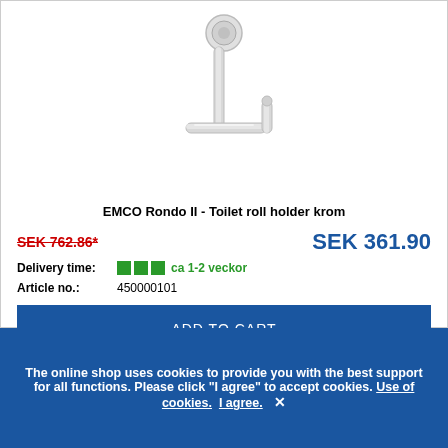[Figure (photo): Chrome toilet roll holder (EMCO Rondo II) shown from above on white background]
EMCO Rondo II - Toilet roll holder krom
SEK 762.86* (strikethrough old price) | SEK 361.90 (current price)
Delivery time: ca 1-2 veckor
Article no.: 450000101
ADD TO CART
The online shop uses cookies to provide you with the best support for all functions. Please click "I agree" to accept cookies. Use of cookies. I agree. ×